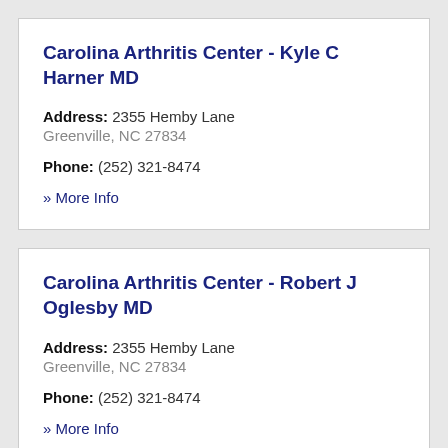Carolina Arthritis Center - Kyle C Harner MD
Address: 2355 Hemby Lane Greenville, NC 27834
Phone: (252) 321-8474
» More Info
Carolina Arthritis Center - Robert J Oglesby MD
Address: 2355 Hemby Lane Greenville, NC 27834
Phone: (252) 321-8474
» More Info